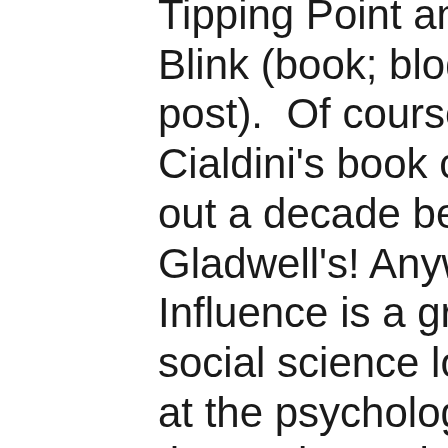Gladwell's The Tipping Point and Blink (book; blog post).  Of course, Cialdini's book came out a decade before Gladwell's! Anyway, Influence is a great social science look at the psychology that makes sales and marketing work. Cialdini talks about sales and marketing professionals as “compliance practitioners,"